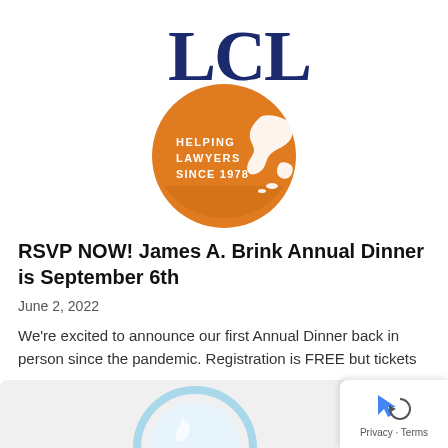[Figure (logo): LCL logo — large dark blue serif 'LCL' letters above an orange circle containing a white map of Massachusetts and the text 'HELPING LAWYERS SINCE 1978']
RSVP NOW! James A. Brink Annual Dinner is September 6th
June 2, 2022
We're excited to announce our first Annual Dinner back in person since the pandemic. Registration is FREE but tickets are…
[Figure (logo): Partial LCL logo (light blue/white version) visible at the bottom of the page, partially cropped]
[Figure (screenshot): Google Maps/privacy badge overlay in bottom-right corner showing a blue arrow cursor icon and 'Privacy · Terms' text]